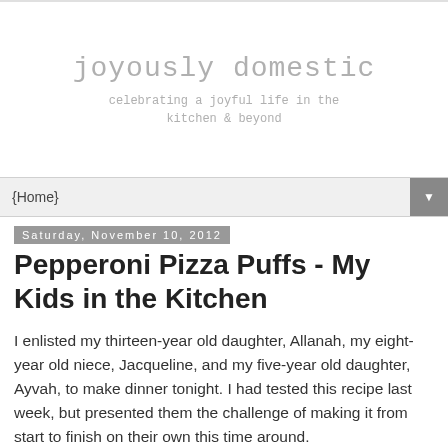joyously domestic
celebrating a joyful life in the kitchen & beyond
{Home}
Saturday, November 10, 2012
Pepperoni Pizza Puffs - My Kids in the Kitchen
I enlisted my thirteen-year old daughter, Allanah, my eight-year old niece, Jacqueline, and my five-year old daughter, Ayvah, to make dinner tonight. I had tested this recipe last week, but presented them the challenge of making it from start to finish on their own this time around.